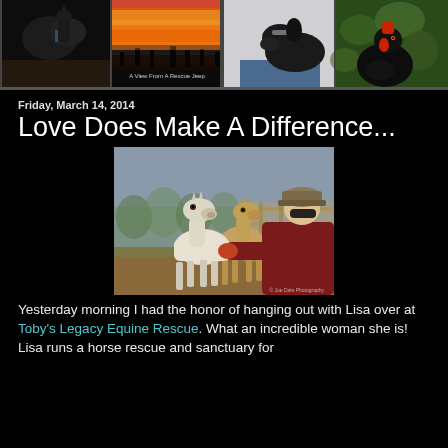[Figure (photo): Header strip with four animal/nature photos: a dark horse close-up, a sunset landscape, a black Labrador dog, and a black hen/chicken]
Friday, March 14, 2014
Love Does Make A Difference...
[Figure (photo): Woman in dark red jacket and plaid cap feeding/petting two small white foals in a paddock]
Yesterday morning I had the honor of hanging out with Lisa over at Toby's Legacy Equine Rescue. What an incredible woman she is! Lisa runs a horse rescue and sanctuary for...